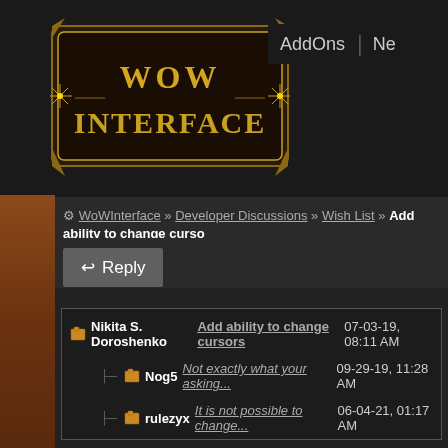[Figure (logo): WoW Interface logo — ornate gold fantasy-style badge with stylized text 'WoW Interface']
AddOns  Ne
⚙ WoWInterface » Developer Discussions » Wish List » Add ability to change curso
↩ Reply
Nikita S. Doroshenko  Add ability to change cursors  07-03-19, 08:11 AM
Nog5  Not exactly what your asking...  09-29-19, 11:28 AM
rulezyx  It is not possible to change...  06-04-21, 01:17 AM